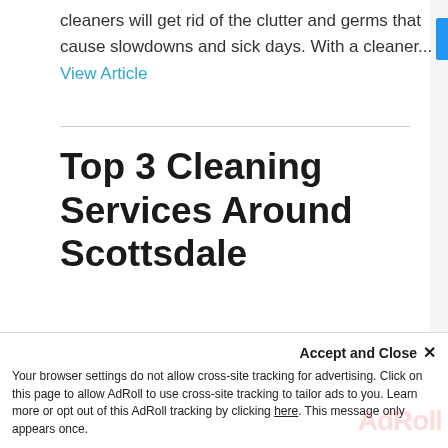cleaners will get rid of the clutter and germs that cause slowdowns and sick days. With a cleaner... View Article
Top 3 Cleaning Services Around Scottsdale
October 19, 2021 by 360 Precision Cleaning
Your browser settings do not allow cross-site tracking for advertising. Click on this page to allow AdRoll to use cross-site tracking to tailor ads to you. Learn more or opt out of this AdRoll tracking by clicking here. This message only appears once.